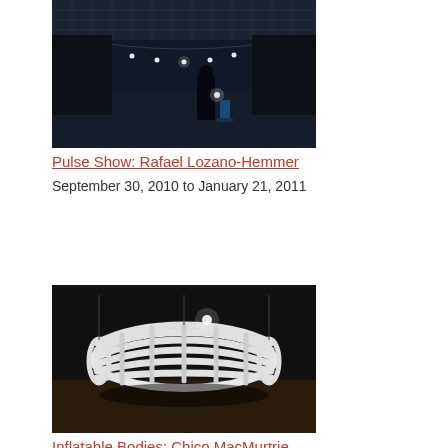[Figure (photo): Dark gallery space with hanging lights and a silhouetted person]
Pulse Show: Rafael Lozano-Hemmer
September 30, 2010 to January 21, 2011
[Figure (photo): White inflatable tubular sculpture suspended in a dark gallery space]
Inflatable Bodies: Chico MacMurtrie